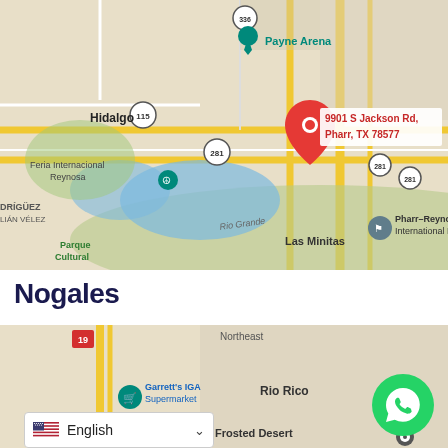[Figure (map): Google Maps screenshot showing area around 9901 S Jackson Rd, Pharr, TX 78577 with a red location pin. Nearby landmarks include Payne Arena, Hidalgo, Feria Internacional Reynosa, Parque Cultural, Las Minitas, Pharr-Reynosa International Bridge, and route markers 336, 115, 281.]
Nogales
[Figure (map): Google Maps screenshot showing Nogales area with Garrett's IGA Supermarket, Rio Rico, Frosted Desert, and route 19 visible. A language selector showing English and a WhatsApp button are overlaid.]